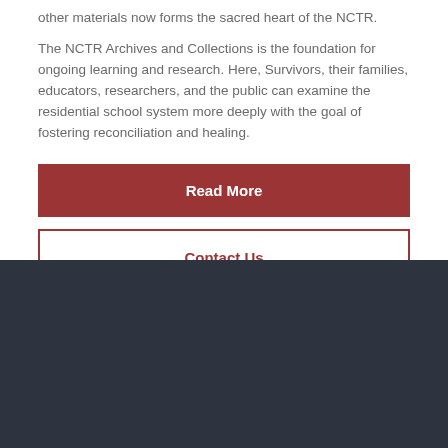other materials now forms the sacred heart of the NCTR.
The NCTR Archives and Collections is the foundation for ongoing learning and research. Here, Survivors, their families, educators, researchers, and the public can examine the residential school system more deeply with the goal of fostering reconciliation and healing.
Read More
Contact Us